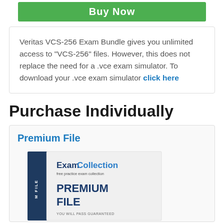[Figure (illustration): Green Buy Now button bar at the top of the page]
Veritas VCS-256 Exam Bundle gives you unlimited access to "VCS-256" files. However, this does not replace the need for a .vce exam simulator. To download your .vce exam simulator click here
Purchase Individually
Premium File
[Figure (illustration): ExamCollection Premium File book product image with dark blue spine and light cover showing 'ExamCollection free practice exam collection PREMIUM FILE YOU WILL PASS GUARANTEED']